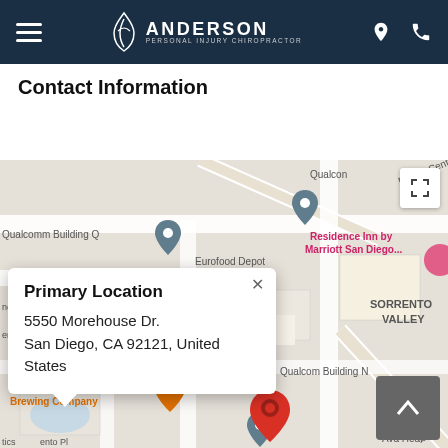Anderson Personal Injury Chiropractor
Contact Information
[Figure (map): Google Maps screenshot showing the area around 5550 Morehouse Dr, San Diego, CA 92121. Visible landmarks include Qualcomm Building Q, Qualcomm Building N, Pacific Center Blvd, Lusk Blvd, Residence Inn by Marriott San Diego, SORRENTO VALLEY, Karl Strauss Brewing Company, and Ava Heal. A red map pin marks the primary location. A popup balloon reads 'Primary Location / 5550 Morehouse Dr. / San Diego, CA 92121, United States'.]
Primary Location
5550 Morehouse Dr.
San Diego, CA 92121, United States